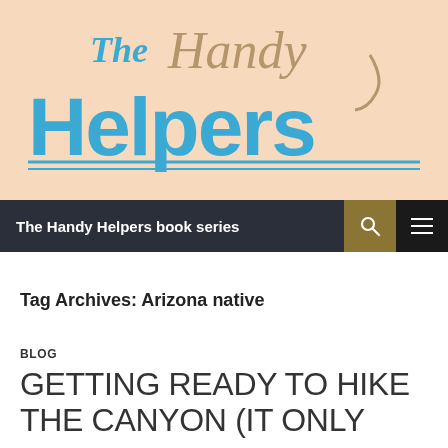[Figure (logo): The Handy Helpers logo on a peach/salmon background. 'The' in blue script, 'Handy' in brown handwritten style, 'Helpers' in large bold blue letters with a double underline.]
The Handy Helpers book series
Tag Archives: Arizona native
BLOG
GETTING READY TO HIKE THE CANYON (IT ONLY